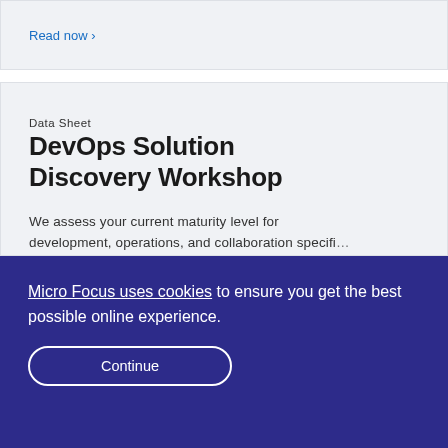Read now ›
Data Sheet
DevOps Solution Discovery Workshop
We assess your current maturity level for development, operations, and collaboration specifi…
Micro Focus uses cookies to ensure you get the best possible online experience.
Continue